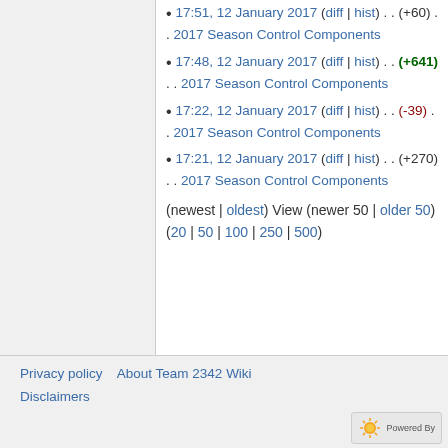17:51, 12 January 2017 (diff | hist) . . (+60) . . 2017 Season Control Components
17:48, 12 January 2017 (diff | hist) . . (+641) . . 2017 Season Control Components
17:22, 12 January 2017 (diff | hist) . . (-39) . . 2017 Season Control Components
17:21, 12 January 2017 (diff | hist) . . (+270) . . 2017 Season Control Components
(newest | oldest) View (newer 50 | older 50) (20 | 50 | 100 | 250 | 500)
Privacy policy   About Team 2342 Wiki   Disclaimers